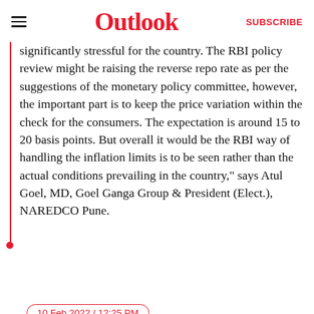Outlook
significantly stressful for the country. The RBI policy review might be raising the reverse repo rate as per the suggestions of the monetary policy committee, however, the important part is to keep the price variation within the check for the consumers. The expectation is around 15 to 20 basis points. But overall it would be the RBI way of handling the inflation limits is to be seen rather than the actual conditions prevailing in the country," says Atul Goel, MD, Goel Ganga Group & President (Elect.), NAREDCO Pune.
10 Feb 2022 / 12:25 PM
VRR Scheme Will Provide Additional Sources Of